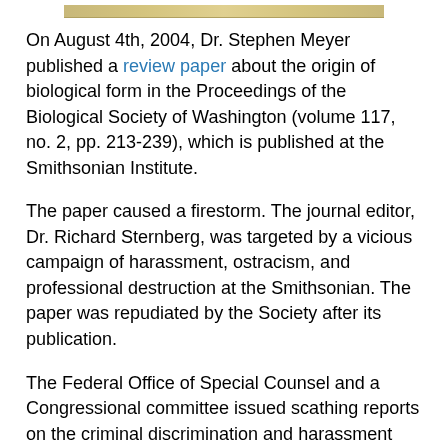[Figure (illustration): Top portion of an image, partially visible, showing a golden/tan colored background strip at the top of the page.]
On August 4th, 2004, Dr. Stephen Meyer published a review paper about the origin of biological form in the Proceedings of the Biological Society of Washington (volume 117, no. 2, pp. 213-239), which is published at the Smithsonian Institute.
The paper caused a firestorm. The journal editor, Dr. Richard Sternberg, was targeted by a vicious campaign of harassment, ostracism, and professional destruction at the Smithsonian. The paper was repudiated by the Society after its publication.
The Federal Office of Special Counsel and a Congressional committee issued scathing reports on the criminal discrimination and harassment against the journal's editor merely for allowing the ideas to be published. The reports and other documents are here.
The Congressional report concludes: